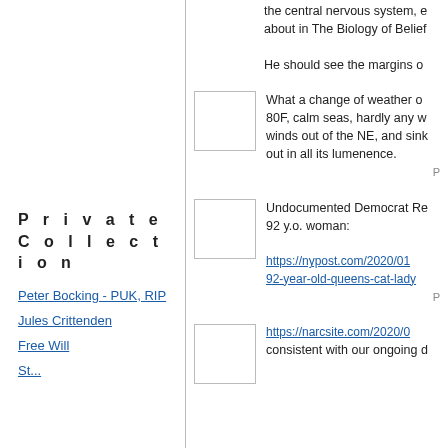the central nervous system, e about in The Biology of Belief
He should see the margins o
[Figure (photo): Thumbnail image placeholder (empty white box with border)]
What a change of weather o 80F, calm seas, hardly any w winds out of the NE, and sink out in all its lumenence.
P
[Figure (photo): Thumbnail image placeholder (empty white box with border)]
Undocumented Democrat Re 92 y.o. woman:
https://nypost.com/2020/01 92-year-old-queens-cat-lady
P
[Figure (photo): Thumbnail image placeholder (empty white box with border)]
https://narcsite.com/2020/0 consistent with our ongoing d
P r i v a t e
C o l l e c t i o n
Peter Bocking - PUK, RIP
Jules Crittenden
Free Will